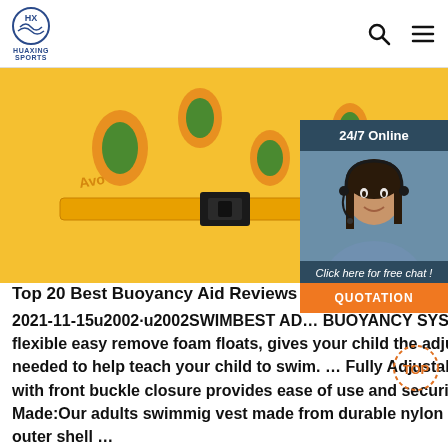HUAXING SPORTS
[Figure (photo): Yellow/orange buoyancy aid swim vest with green avocado pattern, black buckle strap, shown on white background]
[Figure (photo): 24/7 Online customer service chat widget showing a smiling woman with headset, dark blue background, with Click here for free chat and QUOTATION button]
Top 20 Best Buoyancy Aid Reviews & 2021
2021-11-15u2002·u2002SWIMBEST ADVANCED BUOYANCY SYSTEM: 8 soft flexible easy remove foam floats, gives your child the adjustable buoyancy needed to help teach your child to swim. ... Fully Adjustable webbed belt with front buckle closure provides ease of use and security. ... Well Made:Our adults swimming vest made from durable nylon oxford fabric outer shell ...